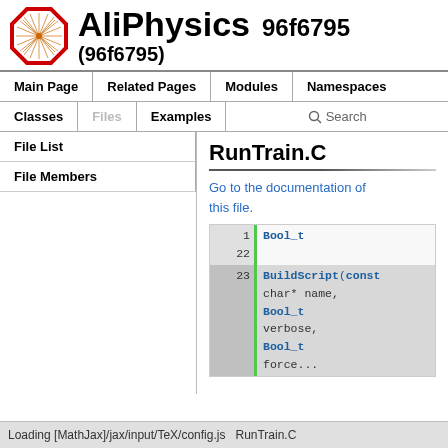AliPhysics 96f6795 (96f6795)
Main Page | Related Pages | Modules | Namespaces
Classes | Files | Examples | Search
File List | File Members
RunTrain.C
Go to the documentation of this file.
1
22
23
Bool_t BuildScript(const char* name, Bool_t verbose, Bool_t force
Loading [MathJax]/jax/input/TeX/config.js  RunTrain.C